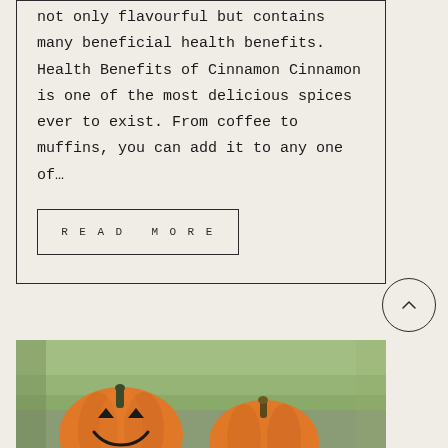not only flavourful but contains many beneficial health benefits. Health Benefits of Cinnamon Cinnamon is one of the most delicious spices ever to exist. From coffee to muffins, you can add it to any one of…
READ MORE
[Figure (photo): Two orange pumpkins with carved faces (jack-o'-lanterns) photographed outdoors with a blurred green and grey background.]